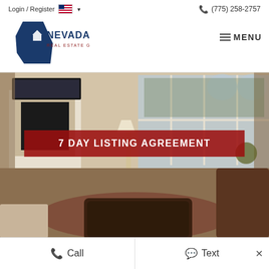Login / Register   🇺🇸 ▾   (775) 258-2757
[Figure (logo): Nevada Real Estate Group logo — blue Nevada state silhouette with a house icon, text NEVADA REAL ESTATE GROUP]
≡ MENU
[Figure (photo): Interior photo of a luxury living room with fireplace, large arched windows, leather tufted ottoman, and warm lighting]
7 DAY LISTING AGREEMENT
📞 Call   💬 Text   ×